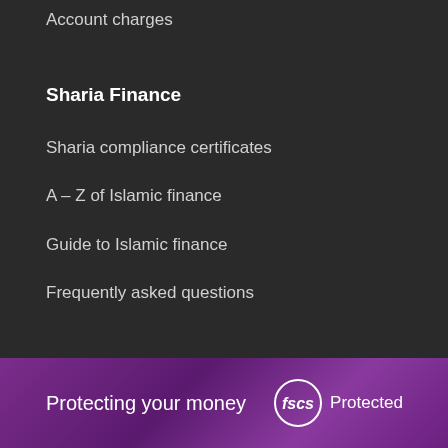Account charges
Sharia Finance
Sharia compliance certificates
A – Z of Islamic finance
Guide to Islamic finance
Frequently asked questions
Protecting your money  FSCS Protected